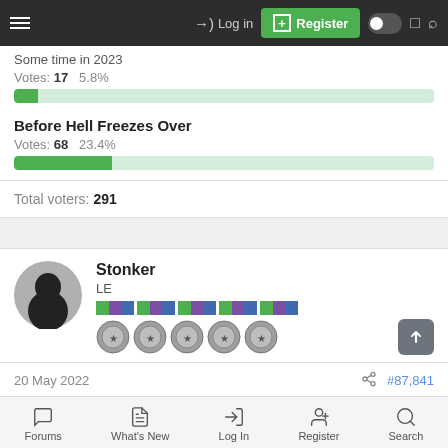Log in | Register
Some time in 2023
Votes: 17   5.8%
Before Hell Freezes Over
Votes: 68   23.4%
Total voters: 291
Stonker
LE
20 May 2022    #87,841
Forums   What's New   Log In   Register   Search